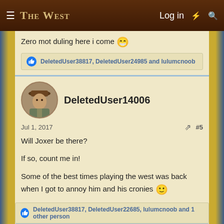The West — Log in
Zero mot duling here i come 😁
DeletedUser38817, DeletedUser24985 and lulumcnoob
DeletedUser14006
Jul 1, 2017   #5
Will Joxer be there?

If so, count me in!

Some of the best times playing the west was back when I got to annoy him and his cronies 🙂
DeletedUser38817, DeletedUser22685, lulumcnoob and 1 other person
DeletedUser35174